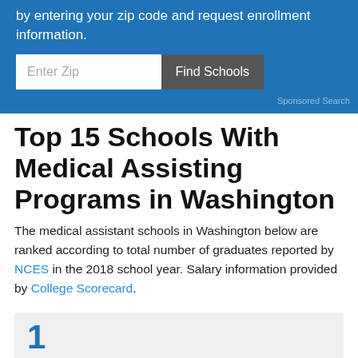by entering your zip code and request enrollment information.
[Figure (screenshot): Search widget with 'Enter Zip' input field and 'Find Schools' button on blue background]
Sponsored Search
Top 15 Schools With Medical Assisting Programs in Washington
The medical assistant schools in Washington below are ranked according to total number of graduates reported by NCES in the 2018 school year. Salary information provided by College Scorecard.
1